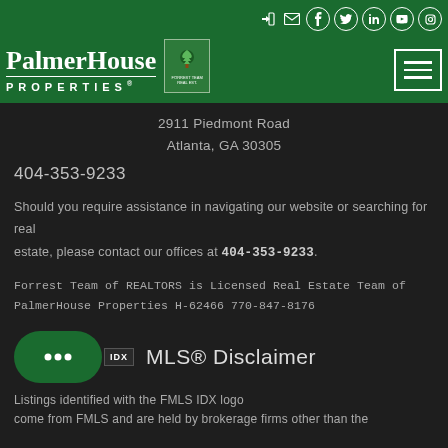PalmerHouse Properties
2911 Piedmont Road
Atlanta, GA 30305
404-353-9233
Should you require assistance in navigating our website or searching for real estate, please contact our offices at 404-353-9233.
Forrest Team of REALTORS is Licensed Real Estate Team of PalmerHouse Properties H-62466 770-847-8176
MLS® Disclaimer
Listings identified with the FMLS IDX logo come from FMLS and are held by brokerage firms other than the